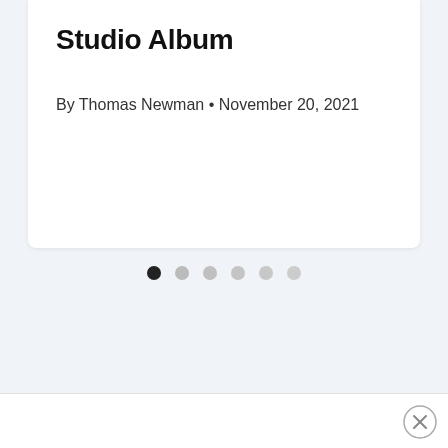Studio Album
By Thomas Newman • November 20, 2021
[Figure (other): Pagination dots: one filled dark dot followed by five lighter gray dots indicating carousel position]
[Figure (other): Close button (X in a circle) in bottom right corner]